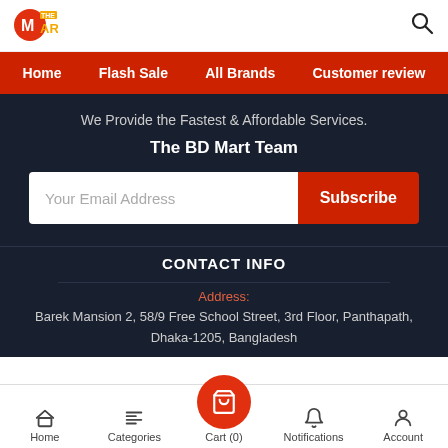[Figure (logo): The BD Mart logo with shopping bag icon and yellow/orange text]
Home | Flash Sale | All Brands | Customer review
We Provide the Fastest & Affordable Services.
The BD Mart Team
Your Email Address [input field] Subscribe [button]
CONTACT INFO
Address:
Barek Mansion 2, 58/9 Free School Street, 3rd Floor, Panthapath, Dhaka-1205, Bangladesh
Home | Categories | Cart (0) | Notifications | Account